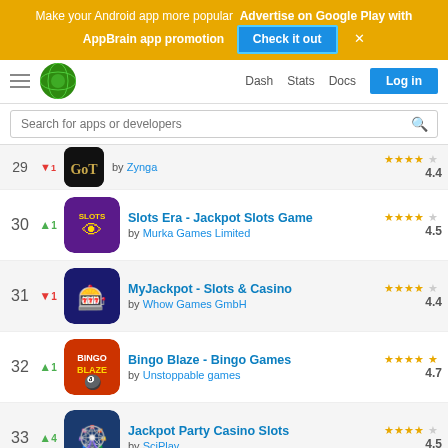[Figure (screenshot): AppBrain promotional banner: Make your Android app more popular. Advertise on Google Play with AppBrain app promotion. Check it out button. Close X.]
[Figure (screenshot): Navigation bar with hamburger menu, AppBrain globe logo, Dash, Stats, Docs links, and Log in button.]
[Figure (screenshot): Search bar: Search for apps or developers]
29 -1 GOT by Zynga 4.4
30 ▲1 Slots Era - Jackpot Slots Game by Murka Games Limited 4.5
31 ▼1 MyJackpot - Slots & Casino by Whow Games GmbH 4.4
32 ▲1 Bingo Blaze - Bingo Games by Unstoppable games 4.7
33 ▲4 Jackpot Party Casino Slots by SciPlay 4.5
34 = Bingo: Play Lucky Bingo Games by Bingo Casino Games 4.7
35 ▲10 Vegas Cherry Slots 4.5